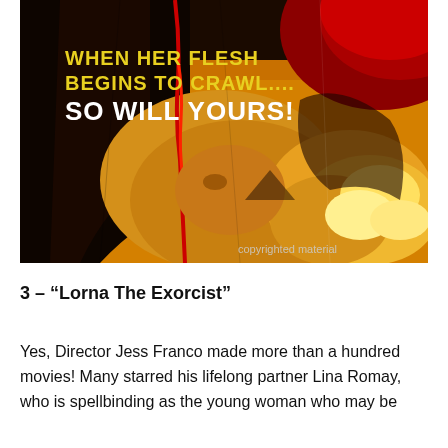[Figure (illustration): Horror movie poster with dark dramatic artwork showing two figures. Yellow text reads 'WHEN HER FLESH BEGINS TO CRAWL.... SO WILL YOURS!' in the upper left. Background features fiery orange/gold and red tones. Watermark reads 'copyrighted material' in lower right.]
3 – “Lorna The Exorcist”
Yes, Director Jess Franco made more than a hundred movies! Many starred his lifelong partner Lina Romay, who is spellbinding as the young woman who may be